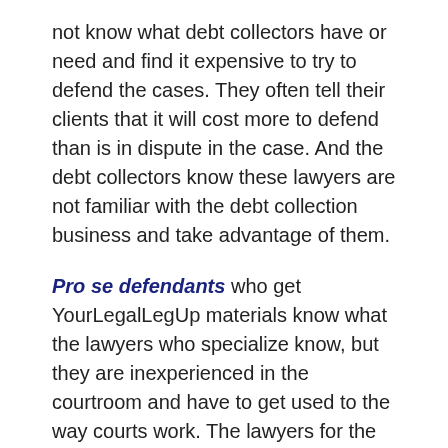not know what debt collectors have or need and find it expensive to try to defend the cases. They often tell their clients that it will cost more to defend than is in dispute in the case. And the debt collectors know these lawyers are not familiar with the debt collection business and take advantage of them.
Pro se defendants who get YourLegalLegUp materials know what the lawyers who specialize know, but they are inexperienced in the courtroom and have to get used to the way courts work. The lawyers for the debt collectors do not know what the pro se defendants know (at first) and (at first) do not expect or believe that the pro se defendants will continue to fight. As they do continue to fight, however, the pro se defendants become more experienced and comfortable in the courtroom, and the debt collectors become more aware of what the